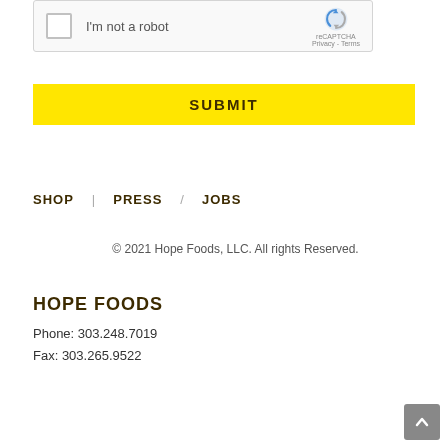[Figure (screenshot): reCAPTCHA checkbox widget with 'I'm not a robot' label and Google reCAPTCHA logo on the right]
SUBMIT
SHOP   PRESS   JOBS
© 2021 Hope Foods, LLC. All rights Reserved.
HOPE FOODS
Phone: 303.248.7019
Fax: 303.265.9522